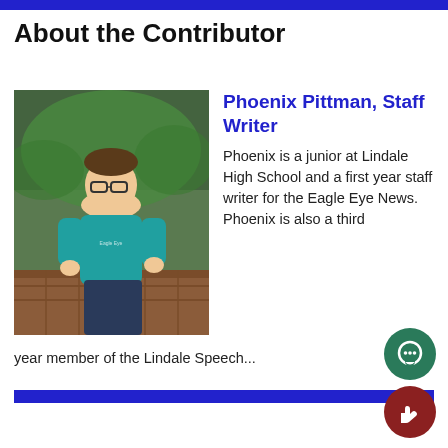About the Contributor
[Figure (photo): Photo of Phoenix Pittman, a young male student wearing a teal t-shirt, standing outdoors near a brick planter with green foliage in the background.]
Phoenix Pittman, Staff Writer
Phoenix is a junior at Lindale High School and a first year staff writer for the Eagle Eye News. Phoenix is also a third year member of the Lindale Speech...